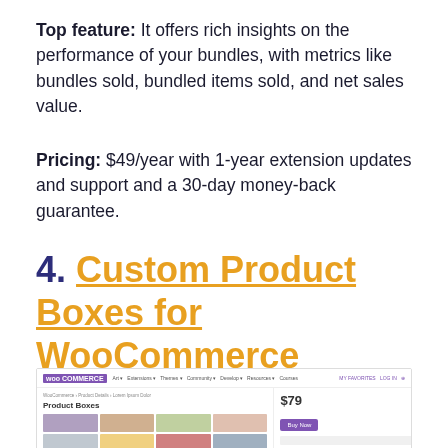Top feature: It offers rich insights on the performance of your bundles, with metrics like bundles sold, bundled items sold, and net sales value.
Pricing: $49/year with 1-year extension updates and support and a 30-day money-back guarantee.
4. Custom Product Boxes for WooCommerce
[Figure (screenshot): Screenshot of the Custom Product Boxes for WooCommerce plugin page on the WooCommerce website, showing a product page with 'Product Boxes' title, a grid of product images, and a price of $79 with a Buy Now button.]